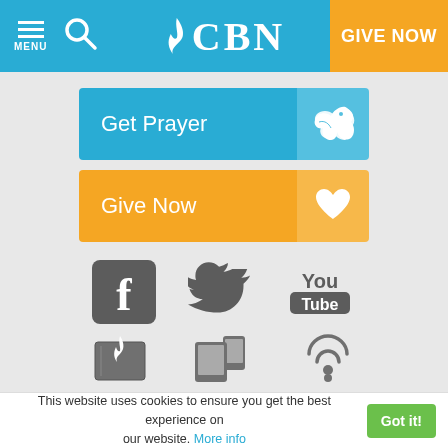CBN - MENU, Search, GIVE NOW
[Figure (screenshot): Get Prayer button with dove icon (blue)]
[Figure (screenshot): Give Now button with heart icon (orange)]
[Figure (screenshot): Social media icons: Facebook, Twitter, YouTube]
[Figure (screenshot): Resource icons: Bible, Apps, Podcasts]
[Figure (screenshot): Bottom icons row: RSS, Cart, CBN logo circle]
This website uses cookies to ensure you get the best experience on our website. More info